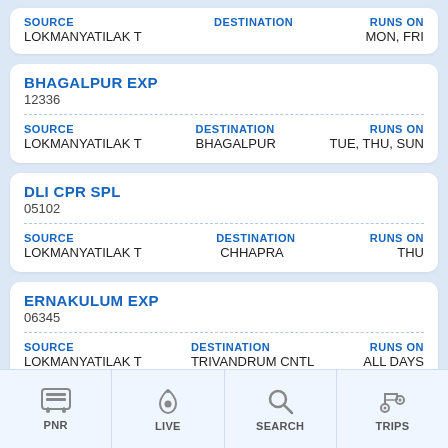SOURCE: LOKMANYATILAK T | RUNS ON: MON, FRI (partial card at top)
BHAGALPUR EXP
12336
| SOURCE | DESTINATION | RUNS ON |
| --- | --- | --- |
| LOKMANYATILAK T | BHAGALPUR | TUE, THU, SUN |
DLI CPR SPL
05102
| SOURCE | DESTINATION | RUNS ON |
| --- | --- | --- |
| LOKMANYATILAK T | CHHAPRA | THU |
ERNAKULUM EXP
06345
| SOURCE | DESTINATION | RUNS ON |
| --- | --- | --- |
| LOKMANYATILAK T | TRIVANDRUM CNTL | ALL DAYS |
LTT AC EXP / 125... (partial card)
PNR | LIVE | SEARCH | TRIPS